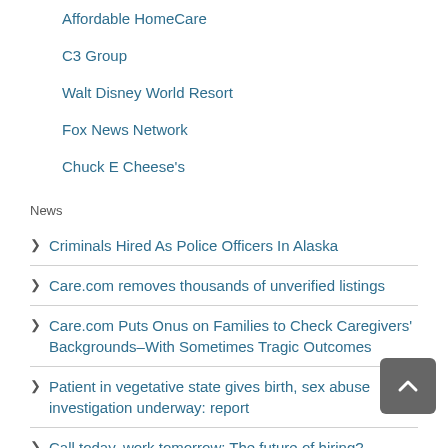Affordable HomeCare
C3 Group
Walt Disney World Resort
Fox News Network
Chuck E Cheese's
News
Criminals Hired As Police Officers In Alaska
Care.com removes thousands of unverified listings
Care.com Puts Onus on Families to Check Caregivers' Backgrounds–With Sometimes Tragic Outcomes
Patient in vegetative state gives birth, sex abuse investigation underway: report
Call today, work tomorrow: The future of hiring?